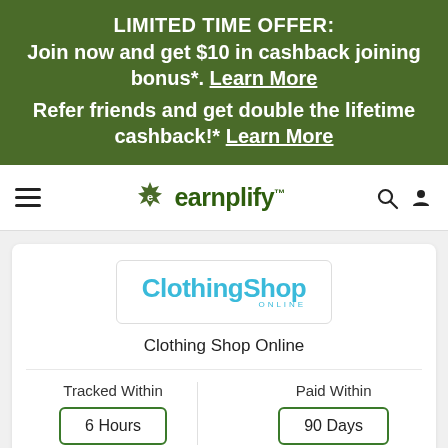LIMITED TIME OFFER:
Join now and get $10 in cashback joining bonus*. Learn More
Refer friends and get double the lifetime cashback!* Learn More
[Figure (logo): Earnplify logo with green leaf and text 'earnplify TM']
[Figure (logo): ClothingShop Online store logo in blue text]
Clothing Shop Online
Tracked Within
6 Hours
Paid Within
90 Days
Missing Cashback Claim :Allowed